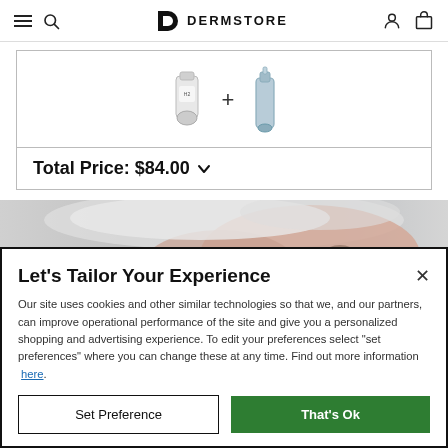DERMSTORE navigation bar with hamburger, search, logo, user and bag icons
[Figure (screenshot): Product bundle box showing two skincare products with a plus sign between them]
Total Price: $84.00
[Figure (photo): Close-up photo of a woman's face with a white towel on her head, grey/white background]
Let's Tailor Your Experience
Our site uses cookies and other similar technologies so that we, and our partners, can improve operational performance of the site and give you a personalized shopping and advertising experience. To edit your preferences select "set preferences" where you can change these at any time. Find out more information here.
Set Preference
That's Ok